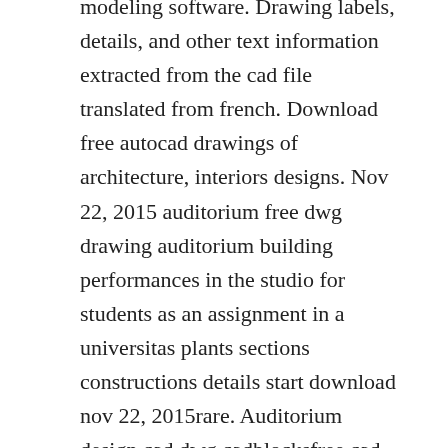modeling software. Drawing labels, details, and other text information extracted from the cad file translated from french. Download free autocad drawings of architecture, interiors designs. Nov 22, 2015 auditorium free dwg drawing auditorium building performances in the studio for students as an assignment in a universitas plants sections constructions details start download nov 22, 2015rare. Auditorium design cad dwg cadblocksfree cad blocks free. And about architectural detail dwg, auditorium armchairs cads blocks, auditorium dwg project. Auditorium maker